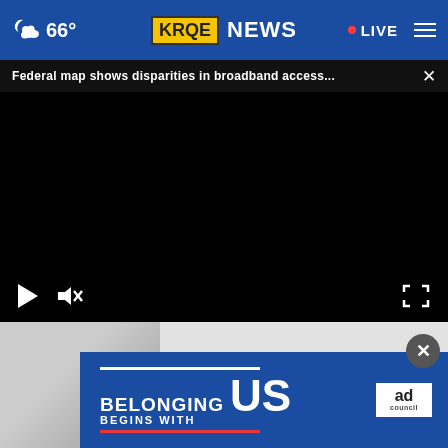66° KRQE NEWS · LIVE
Federal map shows disparities in broadband access...
[Figure (screenshot): Black video player area with play button and mute/fullscreen controls at bottom]
[Figure (infographic): Ad overlay: BELONGING BEGINS WITH US - Ad Council advertisement on blue background]